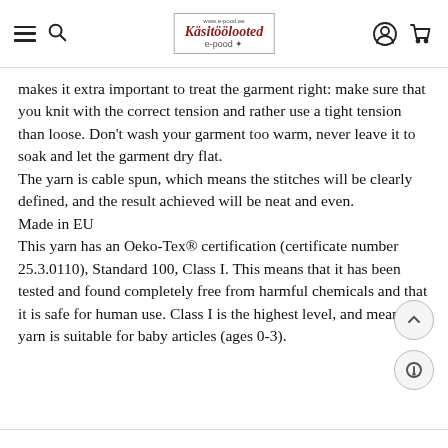Käsitöötooted e-pood
makes it extra important to treat the garment right: make sure that you knit with the correct tension and rather use a tight tension than loose. Don't wash your garment too warm, never leave it to soak and let the garment dry flat.
The yarn is cable spun, which means the stitches will be clearly defined, and the result achieved will be neat and even.
Made in EU
This yarn has an Oeko-Tex® certification (certificate number 25.3.0110), Standard 100, Class I. This means that it has been tested and found completely free from harmful chemicals and that it is safe for human use. Class I is the highest level, and means the yarn is suitable for baby articles (ages 0-3).